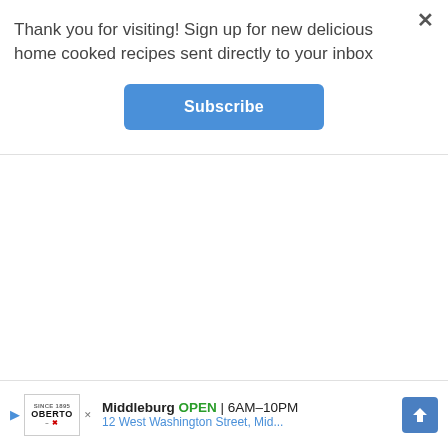Thank you for visiting! Sign up for new delicious home cooked recipes sent directly to your inbox
[Figure (screenshot): Subscribe button — blue rounded rectangle with white bold text 'Subscribe']
[Figure (screenshot): Advertisement bar at bottom: Oberto logo, 'Middleburg OPEN | 6AM–10PM' and '12 West Washington Street, Mid...' with blue diamond navigation arrow icon]